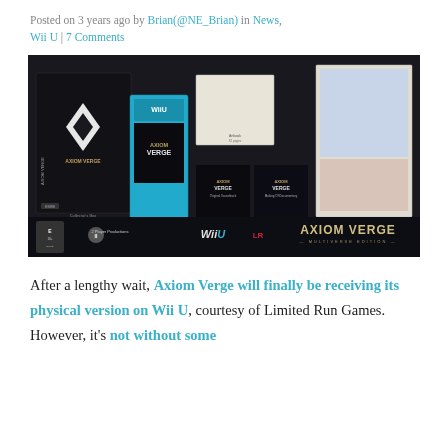Posted on 3 years ago by Brian(@NE_Brian) in News, Wii U | 7 Comments
[Figure (photo): Axiom Verge Multiverse Edition for Wii U product photo showing collector's box, game case, soundtrack, making-of documentary, artbook, double-sided poster, published by 2 Player Productions and Limited Run Games]
After a lengthy wait, Axiom Verge will finally be receiving its physical version on Wii U, courtesy of Limited Run Games. However, it's not without some